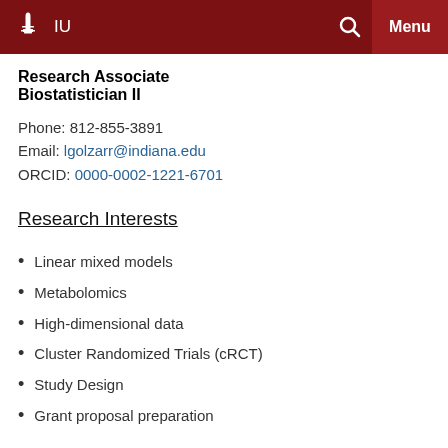IU  Menu
Research Associate
Biostatistician II
Phone: 812-855-3891
Email: lgolzarr@indiana.edu
ORCID: 0000-0002-1221-6701
Research Interests
Linear mixed models
Metabolomics
High-dimensional data
Cluster Randomized Trials (cRCT)
Study Design
Grant proposal preparation